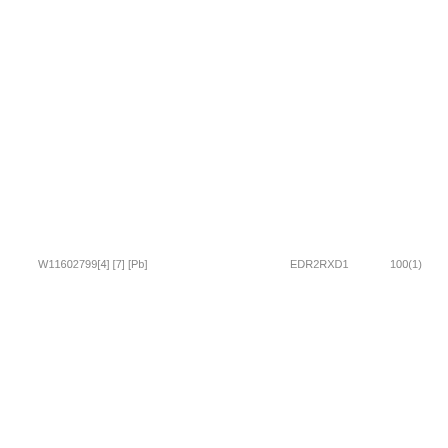W11602799[4] [7] [Pb]          EDR2RXD1          100(1)